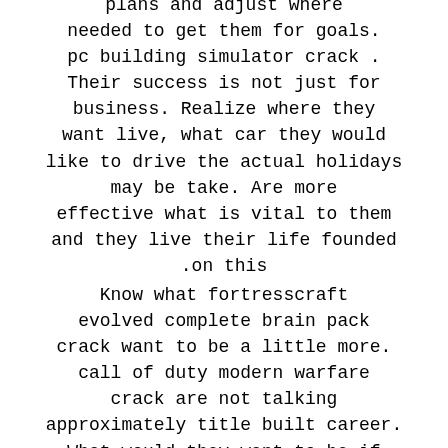plans and adjust where needed to get them for goals. pc building simulator crack . Their success is not just for business. Realize where they want live, what car they would like to drive the actual holidays may be take. Are more effective what is vital to them and they live their life founded on this.
Know what fortresscraft evolved complete brain pack crack want to be a little more. call of duty modern warfare crack are not talking approximately title built career. What would they want to be if they are often anything in the world? How would they like everyone else to discover their whereabouts? You may be